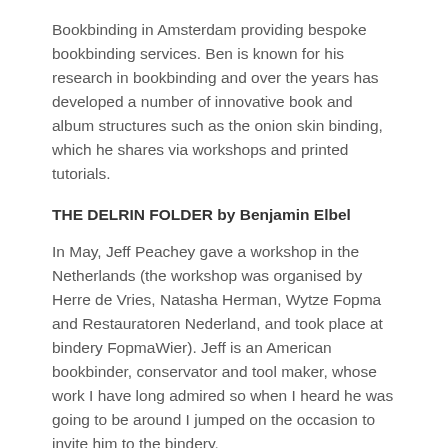Bookbinding in Amsterdam providing bespoke bookbinding services. Ben is known for his research in bookbinding and over the years has developed a number of innovative book and album structures such as the onion skin binding, which he shares via workshops and printed tutorials.
THE DELRIN FOLDER by Benjamin Elbel
In May, Jeff Peachey gave a workshop in the Netherlands (the workshop was organised by Herre de Vries, Natasha Herman, Wytze Fopma and Restauratoren Nederland, and took place at bindery FopmaWier). Jeff is an American bookbinder, conservator and tool maker, whose work I have long admired so when I heard he was going to be around I jumped on the occasion to invite him to the bindery.
Jeff made me a gift: a special folder that he'd made, called the 'Delrin' folder.